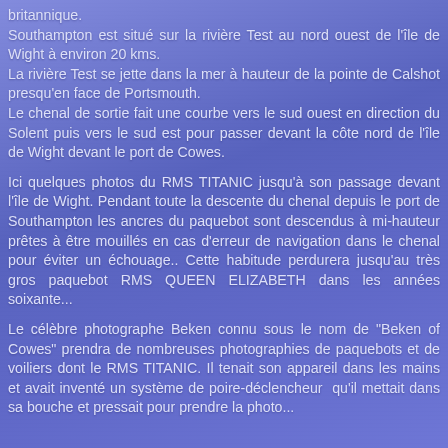britannique. Southampton est situé sur la rivière Test au nord ouest de l'île de Wight à environ 20 kms. La rivière Test se jette dans la mer à hauteur de la pointe de Calshot presqu'en face de Portsmouth. Le chenal de sortie fait une courbe vers le sud ouest en direction du Solent puis vers le sud est pour passer devant la côte nord de l'île de Wight devant le port de Cowes.
Ici quelques photos du RMS TITANIC jusqu'à son passage devant l'île de Wight. Pendant toute la descente du chenal depuis le port de Southampton les ancres du paquebot sont descendus à mi-hauteur prêtes à être mouillés en cas d'erreur de navigation dans le chenal pour éviter un échouage.. Cette habitude perdurera jusqu'au très gros paquebot RMS QUEEN ELIZABETH dans les années soixante...
Le célèbre photographe Beken connu sous le nom de "Beken of Cowes" prendra de nombreuses photographies de paquebots et de voiliers dont le RMS TITANIC. Il tenait son appareil dans les mains et avait inventé un système de poire-déclencheur  qu'il mettait dans sa bouche et pressait pour prendre la photo...